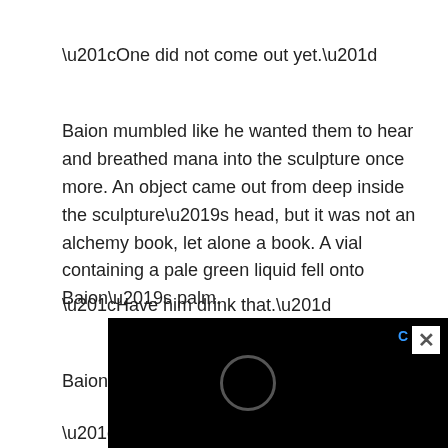“One did not come out yet.”
Baion mumbled like he wanted them to hear and breathed mana into the sculpture once more. An object came out from deep inside the sculpture’s head, but it was not an alchemy book, let alone a book. A vial containing a pale green liquid fell onto Baion’s palm.
“Have him drink that.”
Baion spoke as he threw that vial to L
“What is this draught?”
[Figure (screenshot): A black overlay popup with an X close button, a circular loading/icon element, and partial blue text visible on the right edge]